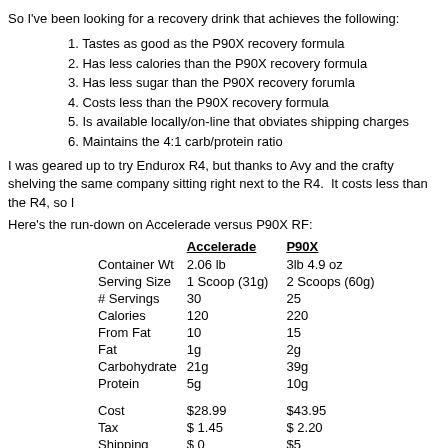So I've been looking for a recovery drink that achieves the following:
1. Tastes as good as the P90X recovery formula
2. Has less calories than the P90X recovery formula
3. Has less sugar than the P90X recovery forumla
4. Costs less than the P90X recovery formula
5. Is available locally/on-line that obviates shipping charges
6. Maintains the 4:1 carb/protein ratio
I was geared up to try Endurox R4, but thanks to Avy and the crafty shelving the same company sitting right next to the R4.  It costs less than the R4, so I
Here's the run-down on Accelerade versus P90X RF:
|  | Accelerade | P90X |
| --- | --- | --- |
| Container Wt | 2.06 lb | 3lb 4.9 oz |
| Serving Size | 1 Scoop (31g) | 2 Scoops (60g) |
| # Servings | 30 | 25 |
| Calories | 120 | 220 |
| From Fat | 10 | 15 |
| Fat | 1g | 2g |
| Carbohydrate | 21g | 39g |
| Protein | 5g | 10g |
|  |  |  |
| Cost | $28.99 | $43.95 |
| Tax | $ 1.45 | $ 2.20 |
| Shipping | $ 0 | $5 |
| Total Cost | $30.44 | $51.15 |
|  |  |  |
| Cost/Serving | $1.01 | $2.05 |